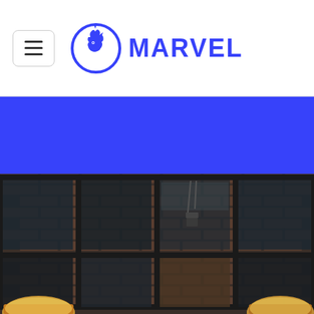Marvel
[Figure (photo): Blue banner section below the Marvel header navigation bar]
[Figure (photo): Photograph of a brick building facade with large industrial steel-framed windows in a grid pattern, with warm lights visible at the bottom]